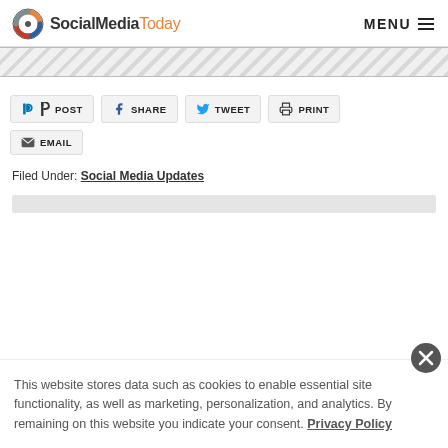SocialMediaToday  MENU
[Figure (other): Diagonal stripe decorative banner]
in POST
f SHARE
TWEET
PRINT
EMAIL
Filed Under: Social Media Updates
This website stores data such as cookies to enable essential site functionality, as well as marketing, personalization, and analytics. By remaining on this website you indicate your consent. Privacy Policy